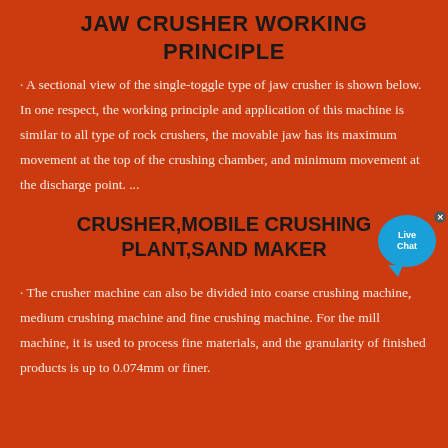JAW CRUSHER WORKING PRINCIPLE
· A sectional view of the single-toggle type of jaw crusher is shown below. In one respect, the working principle and application of this machine is similar to all type of rock crushers, the movable jaw has its maximum movement at the top of the crushing chamber, and minimum movement at the discharge point. ...
CRUSHER,MOBILE CRUSHING PLANT,SAND MAKER
· The crusher machine can also be divided into coarse crushing machine, medium crushing machine and fine crushing machine. For the mill machine, it is used to process fine materials, and the granularity of finished products is up to 0.074mm or finer.